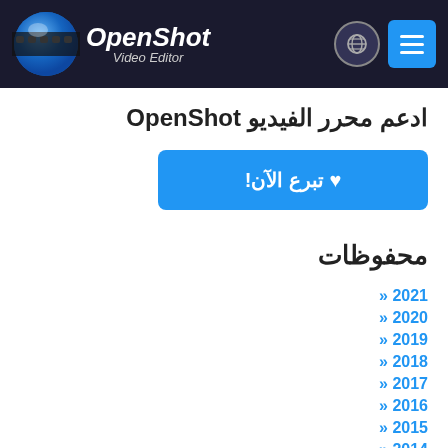[Figure (logo): OpenShot Video Editor logo with globe/film reel icon and italic text]
ادعم محرر الفيديو OpenShot
♥ تبرع الآن!
محفوظات
« 2021
« 2020
« 2019
« 2018
« 2017
« 2016
« 2015
« 2014
« 2013
« 2012
« 2011